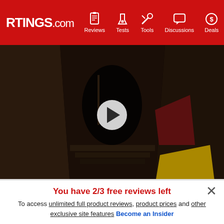RTINGS.com | Reviews | Tests | Tools | Discussions | Deals
[Figure (screenshot): Dark staircase/hallway video thumbnail with a play button overlay]
Low Light Capability In FHD 7.5
[Figure (photo): Studio scene with mannequin head, feathered lamp, rope, gold box, plant, and color checker chart on a dark background]
You have 2/3 free reviews left
To access unlimited full product reviews, product prices and other exclusive site features Become an Insider